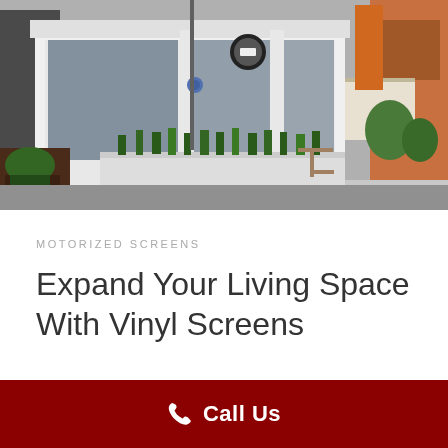[Figure (photo): Exterior photo of a modern white-painted brick building with large glass windows and sliding glass doors, potted plants along the base, outdoor seating visible, urban street setting with other buildings in background.]
MOTORIZED SCREENS
Expand Your Living Space With Vinyl Screens
Call Us